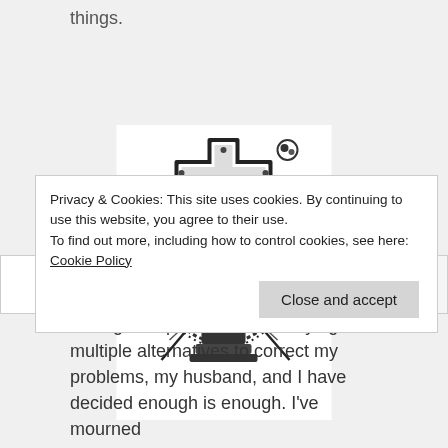things.
[Figure (logo): Religious emblem with a cross, IHS monogram, crown of thorns, and decorative scrollwork — Jesuit style insignia in black and white engraving]
Privacy & Cookies: This site uses cookies. By continuing to use this website, you agree to their use.
To find out more, including how to control cookies, see here:
Cookie Policy
Close and accept
seeing multiple doctors and trying multiple alternatives to correct my problems, my husband, and I have decided enough is enough. I've mourned